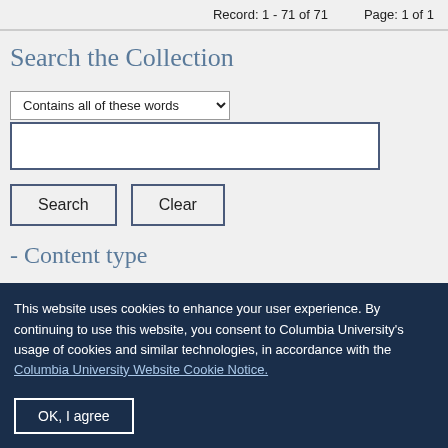Record: 1 - 71 of 71    Page: 1 of 1
Search the Collection
[Figure (screenshot): Search form with dropdown 'Contains all of these words', a text input field, and Search and Clear buttons]
- Content type
This website uses cookies to enhance your user experience. By continuing to use this website, you consent to Columbia University's usage of cookies and similar technologies, in accordance with the Columbia University Website Cookie Notice.
OK, I agree